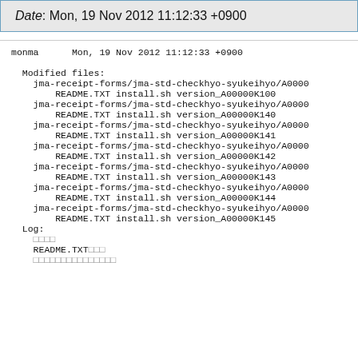Date: Mon, 19 Nov 2012 11:12:33 +0900
monma      Mon, 19 Nov 2012 11:12:33 +0900

  Modified files:
    jma-receipt-forms/jma-std-checkhyo-syukeihyo/A0000
        README.TXT install.sh version_A00000K100
    jma-receipt-forms/jma-std-checkhyo-syukeihyo/A0000
        README.TXT install.sh version_A00000K140
    jma-receipt-forms/jma-std-checkhyo-syukeihyo/A0000
        README.TXT install.sh version_A00000K141
    jma-receipt-forms/jma-std-checkhyo-syukeihyo/A0000
        README.TXT install.sh version_A00000K142
    jma-receipt-forms/jma-std-checkhyo-syukeihyo/A0000
        README.TXT install.sh version_A00000K143
    jma-receipt-forms/jma-std-checkhyo-syukeihyo/A0000
        README.TXT install.sh version_A00000K144
    jma-receipt-forms/jma-std-checkhyo-syukeihyo/A0000
        README.TXT install.sh version_A00000K145
  Log:
    □□□□
    README.TXT□□□
    □□□□□□□□□□□□□□□